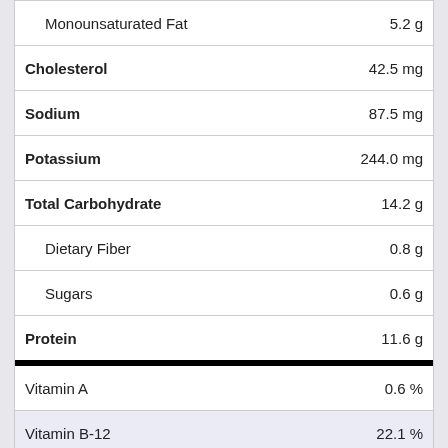Monounsaturated Fat   5.2 g
Cholesterol   42.5 mg
Sodium   87.5 mg
Potassium   244.0 mg
Total Carbohydrate   14.2 g
Dietary Fiber   0.8 g
Sugars   0.6 g
Protein   11.6 g
Vitamin A   0.6 %
Vitamin B-12   22.1 %
Vitamin B-6   11.6 %
Vitamin C   6.2 %
Vitamin D   0.0 %
Vitamin E   1.1 %
Calcium   2.4 %